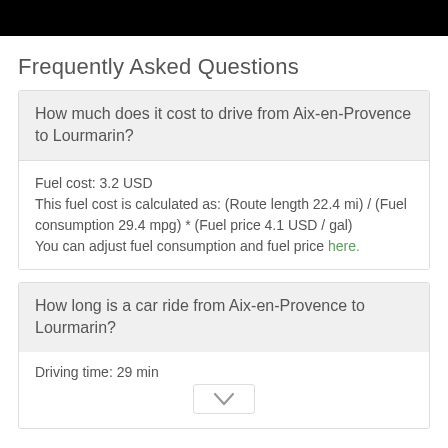Frequently Asked Questions
How much does it cost to drive from Aix-en-Provence to Lourmarin?
Fuel cost: 3.2 USD
This fuel cost is calculated as: (Route length 22.4 mi) / (Fuel consumption 29.4 mpg) * (Fuel price 4.1 USD / gal)
You can adjust fuel consumption and fuel price here.
How long is a car ride from Aix-en-Provence to Lourmarin?
Driving time: 29 min